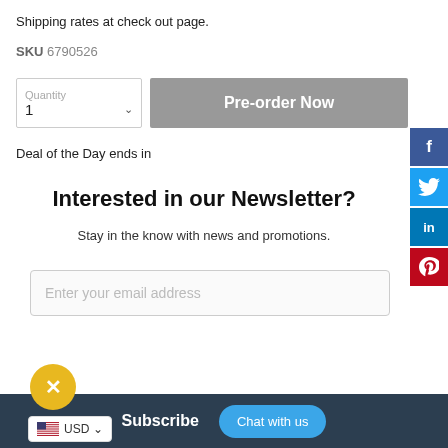Shipping rates at check out page.
SKU 6790526
Pre-order Now
Deal of the Day ends in
Interested in our Newsletter?
Stay in the know with news and promotions.
Enter your email address
Subscribe
Chat with us